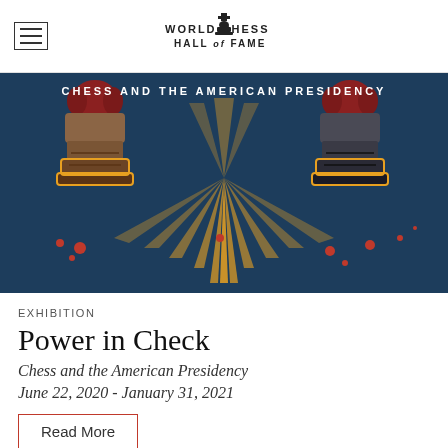World Chess Hall of Fame
[Figure (illustration): Stylized illustration of two chess kings (one brown/gold, one dark/gray) colliding with a starburst explosion between them on a dark blue background. Text at top reads 'CHESS AND THE AMERICAN PRESIDENCY'.]
EXHIBITION
Power in Check
Chess and the American Presidency
June 22, 2020 - January 31, 2021
Read More